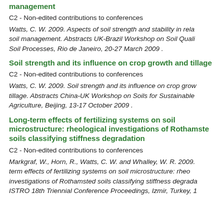management
C2 - Non-edited contributions to conferences
Watts, C. W. 2009. Aspects of soil strength and stability in rela soil management. Abstracts UK-Brazil Workshop on Soil Quali Soil Processes, Rio de Janeiro, 20-27 March 2009 .
Soil strength and its influence on crop growth and tillage
C2 - Non-edited contributions to conferences
Watts, C. W. 2009. Soil strength and its influence on crop grow tillage. Abstracts China-UK Workshop on Soils for Sustainable Agriculture, Beijing, 13-17 October 2009 .
Long-term effects of fertilizing systems on soil microstructure: rheological investigations of Rothamste soils classifying stiffness degradation
C2 - Non-edited contributions to conferences
Markgraf, W., Horn, R., Watts, C. W. and Whalley, W. R. 2009. term effects of fertilizing systems on soil microstructure: rheo investigations of Rothamsted soils classifying stiffness degrada ISTRO 18th Triennial Conference Proceedings, Izmir, Turkey, 1